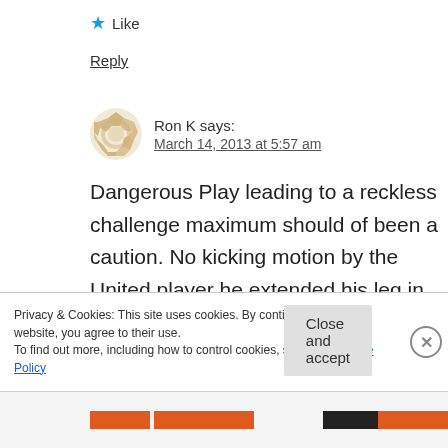★ Like
Reply
Ron K says:
March 14, 2013 at 5:57 am
Dangerous Play leading to a reckless challenge maximum should of been a caution. No kicking motion by the United player he extended his leg in the attempt to bring down the ball as the Real Madrid
Privacy & Cookies: This site uses cookies. By continuing to use this website, you agree to their use.
To find out more, including how to control cookies, see here: Cookie Policy
Close and accept